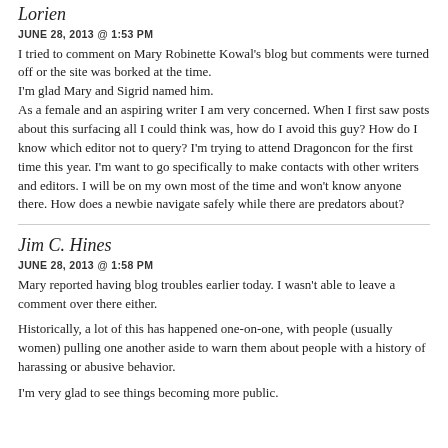Lorien
JUNE 28, 2013 @ 1:53 PM
I tried to comment on Mary Robinette Kowal's blog but comments were turned off or the site was borked at the time.
I'm glad Mary and Sigrid named him.
As a female and an aspiring writer I am very concerned. When I first saw posts about this surfacing all I could think was, how do I avoid this guy? How do I know which editor not to query? I'm trying to attend Dragoncon for the first time this year. I'm want to go specifically to make contacts with other writers and editors. I will be on my own most of the time and won't know anyone there. How does a newbie navigate safely while there are predators about?
Jim C. Hines
JUNE 28, 2013 @ 1:58 PM
Mary reported having blog troubles earlier today. I wasn't able to leave a comment over there either.
Historically, a lot of this has happened one-on-one, with people (usually women) pulling one another aside to warn them about people with a history of harassing or abusive behavior.
I'm very glad to see things becoming more public.